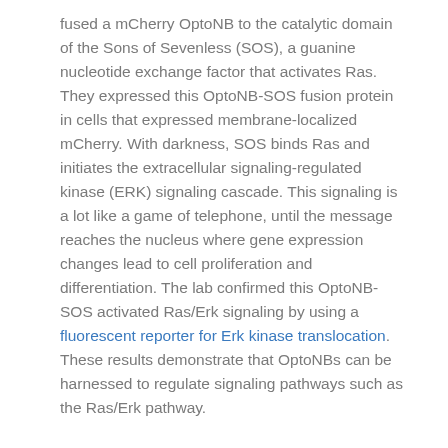fused a mCherry OptoNB to the catalytic domain of the Sons of Sevenless (SOS), a guanine nucleotide exchange factor that activates Ras. They expressed this OptoNB-SOS fusion protein in cells that expressed membrane-localized mCherry. With darkness, SOS binds Ras and initiates the extracellular signaling-regulated kinase (ERK) signaling cascade. This signaling is a lot like a game of telephone, until the message reaches the nucleus where gene expression changes lead to cell proliferation and differentiation. The lab confirmed this OptoNB-SOS activated Ras/Erk signaling by using a fluorescent reporter for Erk kinase translocation. These results demonstrate that OptoNBs can be harnessed to regulate signaling pathways such as the Ras/Erk pathway.
What's next for OptoNBs?